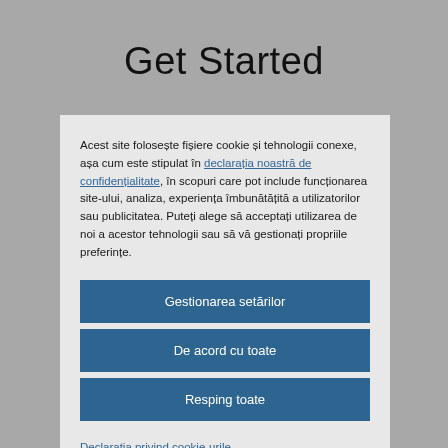Get Started
Acest site folosește fișiere cookie și tehnologii conexe, așa cum este stipulat în declarația noastră de confidențialitate, în scopuri care pot include funcționarea site-ului, analiza, experiența îmbunătățită a utilizatorilor sau publicitatea. Puteți alege să acceptați utilizarea de noi a acestor tehnologii sau să vă gestionați propriile preferințe.
Gestionarea setărilor
De acord cu toate
Resping toate
Declarația privind cookie-urile